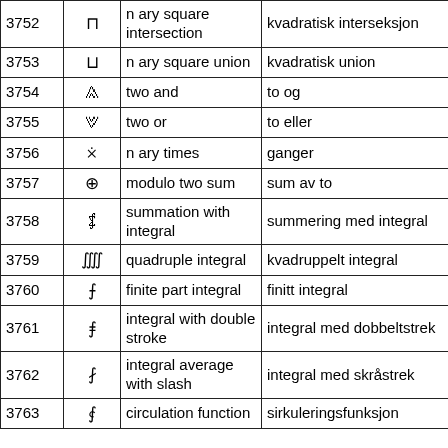| # | Symbol | English | Norwegian | Category |
| --- | --- | --- | --- | --- |
| 3752 | ⊓ | n ary square intersection | kvadratisk interseksjon | clearspe |
| 3753 | ⊔ | n ary square union | kvadratisk union | clearspe |
| 3754 | ⩓ | two and | to og | clearspe |
| 3755 | ⩔ | two or | to eller | clearspe |
| 3756 | ⨰ | n ary times | ganger | clearspe |
| 3757 | ⨁ | modulo two sum | sum av to | clearspe |
| 3758 | ⨋ | summation with integral | summering med integral | clearspe |
| 3759 | ⨌ | quadruple integral | kvadruppelt integral | clearspe |
| 3760 | ⨍ | finite part integral | finitt integral | clearspe |
| 3761 | ⨎ | integral with double stroke | integral med dobbeltstrek | clearspe |
| 3762 | ⨏ | integral average with slash | integral med skråstrek | clearspe |
| 3763 | ⨐ | circulation function | sirkuleringsfunksjon | clearspe |